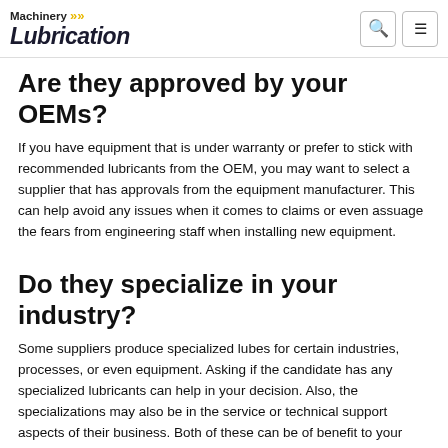Machinery Lubrication
Are they approved by your OEMs?
If you have equipment that is under warranty or prefer to stick with recommended lubricants from the OEM, you may want to select a supplier that has approvals from the equipment manufacturer. This can help avoid any issues when it comes to claims or even assuage the fears from engineering staff when installing new equipment.
Do they specialize in your industry?
Some suppliers produce specialized lubes for certain industries, processes, or even equipment. Asking if the candidate has any specialized lubricants can help in your decision. Also, the specializations may also be in the service or technical support aspects of their business. Both of these can be of benefit to your plant if your staff is lacking the knowledge and understanding of lubricants and lubrication.